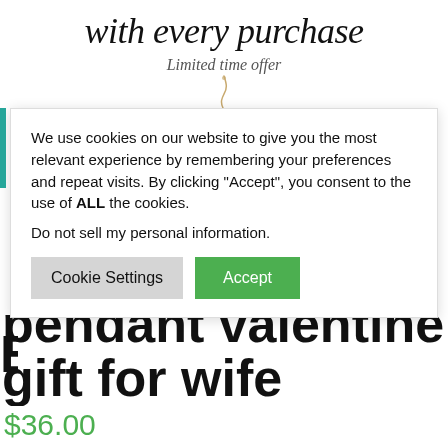with every purchase
Limited time offer
[Figure (illustration): Small decorative cursive letter or icon in gold/tan color]
We use cookies on our website to give you the most relevant experience by remembering your preferences and repeat visits. By clicking “Accept”, you consent to the use of ALL the cookies.
Do not sell my personal information.
Cookie Settings   Accept
pendant valentine gift for wife
$36.00